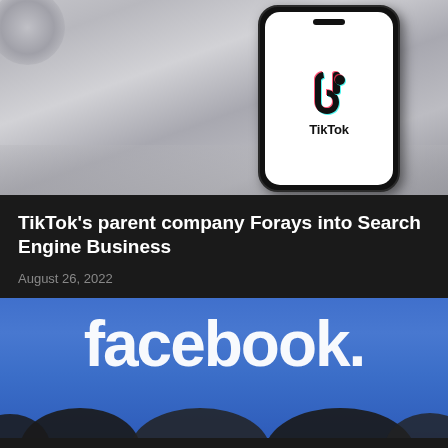[Figure (photo): A smartphone displaying the TikTok app logo on its screen, placed on a light gray surface with a round gray object partially visible in the top-left corner.]
TikTok's parent company Forays into Search Engine Business
August 26, 2022
[Figure (photo): A blue Facebook sign/logo displayed outdoors with dark silhouettes of people in the foreground.]